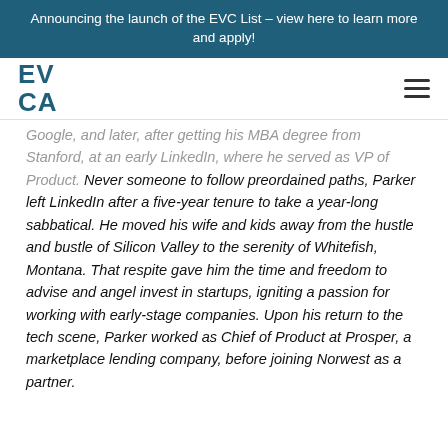Announcing the launch of the EVC List – view here to learn more and apply!
[Figure (logo): EVCA logo in teal/dark blue, two-line stacked text]
Google, and later, after getting his MBA degree from Stanford, at an early LinkedIn, where he served as VP of Product. Never someone to follow preordained paths, Parker left LinkedIn after a five-year tenure to take a year-long sabbatical. He moved his wife and kids away from the hustle and bustle of Silicon Valley to the serenity of Whitefish, Montana. That respite gave him the time and freedom to advise and angel invest in startups, igniting a passion for working with early-stage companies. Upon his return to the tech scene, Parker worked as Chief of Product at Prosper, a marketplace lending company, before joining Norwest as a partner.